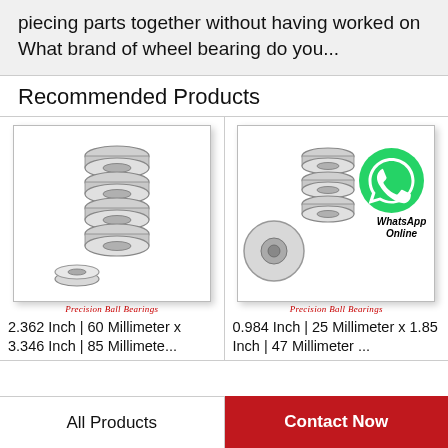piecing parts together without having worked on  What brand of wheel bearing do you...
Recommended Products
[Figure (photo): Stack of precision ball bearings, multiple stacked vertically with one in front, product image with label 'Precision Ball Bearings']
2.362 Inch | 60 Millimeter x 3.346 Inch | 85 Millimete...
[Figure (photo): Precision ball bearings with WhatsApp Online logo overlay, bearing stack and loose bearing visible, label 'Precision Ball Bearings']
0.984 Inch | 25 Millimeter x 1.85 Inch | 47 Millimeter ...
All Products
Contact Now